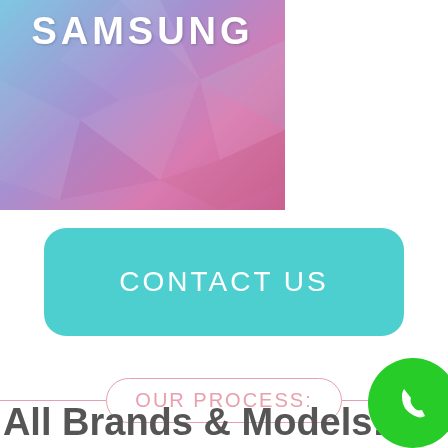[Figure (illustration): Samsung brand banner with geometric low-poly background in blue, purple and pink gradient colors, with SAMSUNG text in white bold letters at the top]
CONTACT US
OUR PROCESS:
[Figure (illustration): Teal/cyan circular icon with a white diamond gem shape]
All Brands & Models!
[Figure (illustration): Green circular phone call button in bottom right corner]